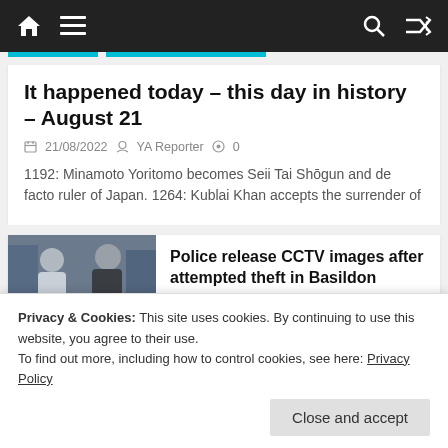Navigation bar with home, menu, search, and shuffle icons
It happened today – this day in history – August 21
21/08/2022  YA Reporter  0
1192: Minamoto Yoritomo becomes Seii Tai Shōgun and de facto ruler of Japan. 1264: Kublai Khan accepts the surrender of
[Figure (photo): CCTV image of two men, one in light clothing and one in dark jacket]
Police release CCTV images after attempted theft in Basildon
Privacy & Cookies: This site uses cookies. By continuing to use this website, you agree to their use.
To find out more, including how to control cookies, see here: Privacy Policy
Close and accept